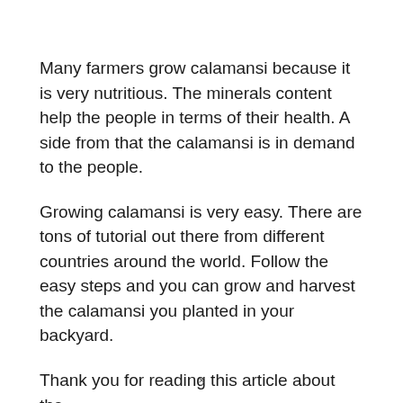Many farmers grow calamansi because it is very nutritious. The minerals content help the people in terms of their health. A side from that the calamansi is in demand to the people.
Growing calamansi is very easy. There are tons of tutorial out there from different countries around the world. Follow the easy steps and you can grow and harvest the calamansi you planted in your backyard.
Thank you for reading this article about the